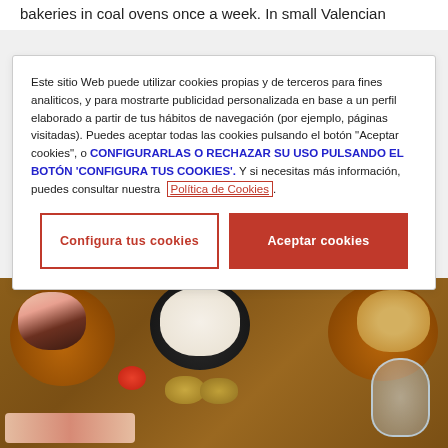bakeries in coal ovens once a week. In small Valencian
Este sitio Web puede utilizar cookies propias y de terceros para fines analiticos, y para mostrarte publicidad personalizada en base a un perfil elaborado a partir de tus hábitos de navegación (por ejemplo, páginas visitadas). Puedes aceptar todas las cookies pulsando el botón "Aceptar cookies", o CONFIGURARLAS O RECHAZAR SU USO PULSANDO EL BOTÓN 'CONFIGURA TUS COOKIES'. Y si necesitas más información, puedes consultar nuestra Política de Cookies. [buttons: Configura tus cookies | Aceptar cookies]
[Figure (photo): Overhead photo of food ingredients on a wooden surface: three ceramic bowls containing meat/sausage, rice, and chickpeas respectively, plus a tomato, potatoes, and a glass container in the foreground.]